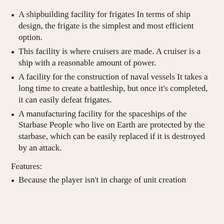A shipbuilding facility for frigates In terms of ship design, the frigate is the simplest and most efficient option.
This facility is where cruisers are made. A cruiser is a ship with a reasonable amount of power.
A facility for the construction of naval vessels It takes a long time to create a battleship, but once it's completed, it can easily defeat frigates.
A manufacturing facility for the spaceships of the Starbase People who live on Earth are protected by the starbase, which can be easily replaced if it is destroyed by an attack.
Features:
Because the player isn't in charge of unit creation